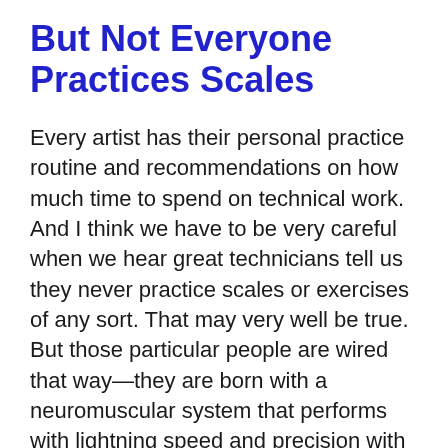But Not Everyone Practices Scales
Every artist has their personal practice routine and recommendations on how much time to spend on technical work. And I think we have to be very careful when we hear great technicians tell us they never practice scales or exercises of any sort. That may very well be true. But those particular people are wired that way—they are born with a neuromuscular system that performs with lightning speed and precision with very little training through formal technical exercises. They can just DO IT.
But for the rest of us, I believe there is no denying the importance and necessity of